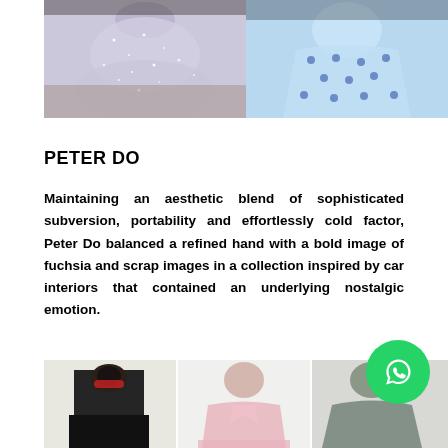[Figure (photo): Two fashion models wearing dresses — left model in a sparkly/sequined light lavender ruffled dress, right model in a light blue polka dot flared dress, photographed indoors]
PETER DO
Maintaining an aesthetic blend of sophisticated subversion, portability and effortlessly cold factor, Peter Do balanced a refined hand with a bold image of fuchsia and scrap images in a collection inspired by car interiors that contained an underlying nostalgic emotion.
[Figure (photo): Three fashion photos side by side: left shows model in black turtleneck outfit with red sunglasses; center shows model in pink blazer suit; right shows partial view of model in grey/teal outfit]